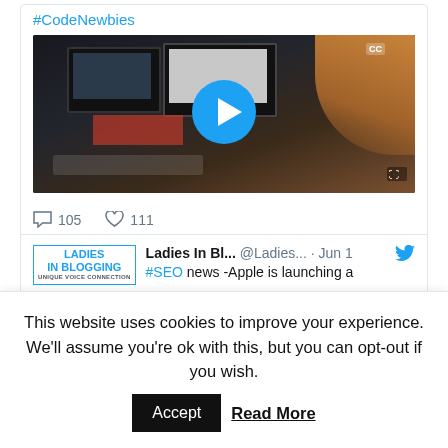#CodeNewbies
[Figure (screenshot): Video thumbnail of a person typing on a keyboard at a computer, with a play button overlay. Shows a dark scene with blue play circle in center.]
105 comments  111 likes
Ladies In Bl... @Ladies... · Jun 1
#SEO news -Apple is launching a
NETWORKING EVENTS
This website uses cookies to improve your experience. We'll assume you're ok with this, but you can opt-out if you wish.
Accept  Read More